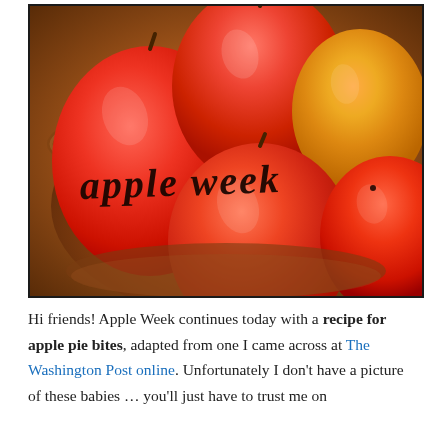[Figure (photo): A basket of red apples with the text 'apple week' overlaid in dark dripping font style across the apples.]
Hi friends! Apple Week continues today with a recipe for apple pie bites, adapted from one I came across at The Washington Post online. Unfortunately I don't have a picture of these babies … you'll just have to trust me on